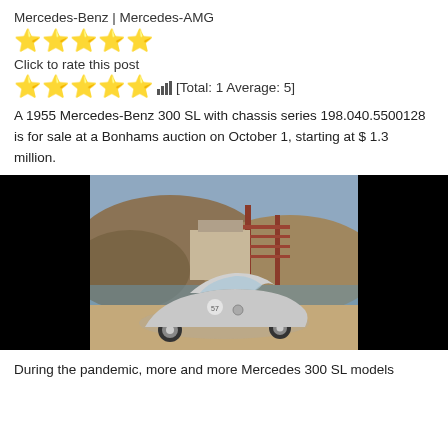Mercedes-Benz | Mercedes-AMG
[Figure (other): Five yellow star rating icons]
Click to rate this post
★★★★★ [Total: 1 Average: 5]
A 1955 Mercedes-Benz 300 SL with chassis series 198.040.5500128 is for sale at a Bonhams auction on October 1, starting at $ 1.3 million.
[Figure (photo): A silver 1955 Mercedes-Benz 300 SL Gullwing coupe photographed outdoors near a waterfront with hills and a red bridge structure in the background, on a sandy/concrete surface.]
During the pandemic, more and more Mercedes 300 SL models